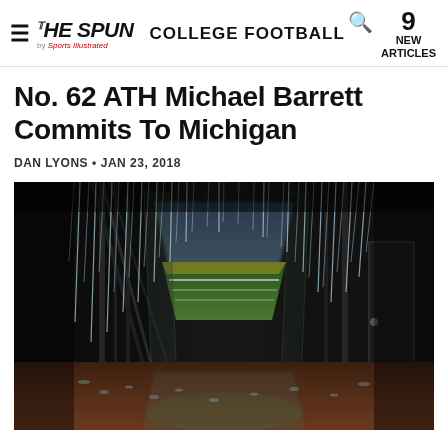THE SPUN by Sports Illustrated  COLLEGE FOOTBALL  9 NEW ARTICLES
No. 62 ATH Michael Barrett Commits To Michigan
DAN LYONS • JAN 23, 2018
[Figure (photo): View from inside a tunnel or stadium corridor looking out toward a rain-soaked football field (green turf visible in background), with water cascading heavily in the foreground and wet concrete floor reflecting light. Dark structural framework visible on sides.]